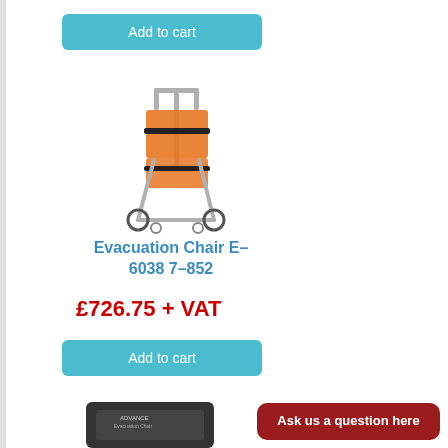Add to cart
[Figure (photo): Evacuation Chair E-6038 7-852, an orange and silver stair evacuation chair on wheels]
Evacuation Chair E-6038 7-852
£726.75 + VAT
Add to cart
[Figure (photo): Partial image of a dark product bag at bottom of page]
Ask us a question here